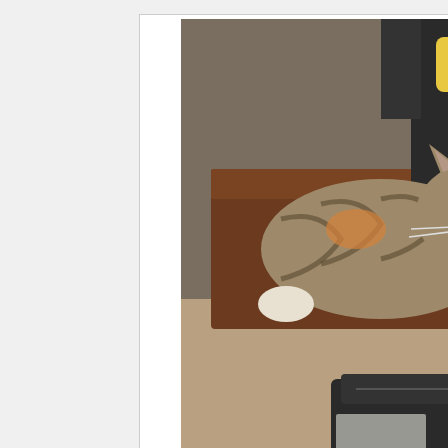[Figure (photo): A tabby cat lying on a table in a home setting, with a black bag and hardwood floor visible in the background.]
Capitan
50232849
Cat
Male/Neutered
Domestic Shorthair/Mix
2 years 3 months
[Figure (photo): A small tabby kitten sitting inside a metal crate on a gray mat.]